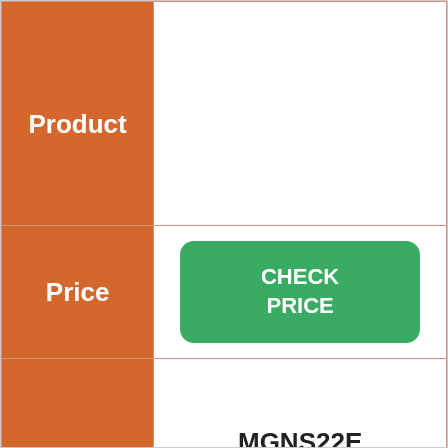| Product |  |
| --- | --- |
| Product |  |
| Price | CHECK PRICE |
|  | MGNS22E |